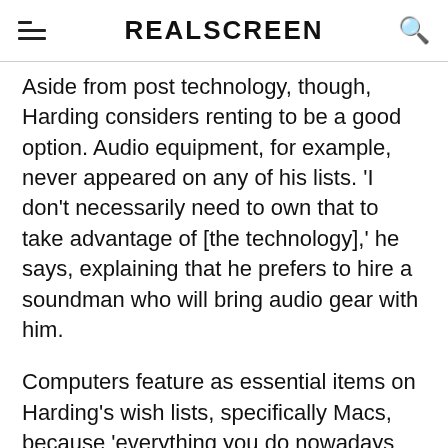REALSCREEN
Aside from post technology, though, Harding considers renting to be a good option. Audio equipment, for example, never appeared on any of his lists. 'I don't necessarily need to own that to take advantage of [the technology],' he says, explaining that he prefers to hire a soundman who will bring audio gear with him.
Computers feature as essential items on Harding's wish lists, specifically Macs, because 'everything you do nowadays involves a computer, from writing treatments, to scripts, to pitches.' He would